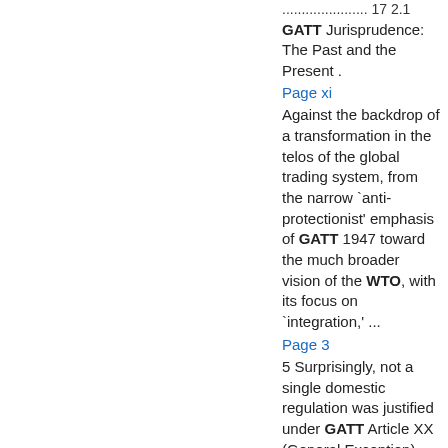...................... 17 2.1 GATT Jurisprudence: The Past and the Present .
Page xi
Against the backdrop of a transformation in the telos of the global trading system, from the narrow `anti-protectionist' emphasis of GATT 1947 toward the much broader vision of the WTO, with its focus on `integration,' ...
Page 3
5 Surprisingly, not a single domestic regulation was justified under GATT Article XX (General Exception) before the WTO was launched. In addition, the legacy of tariff